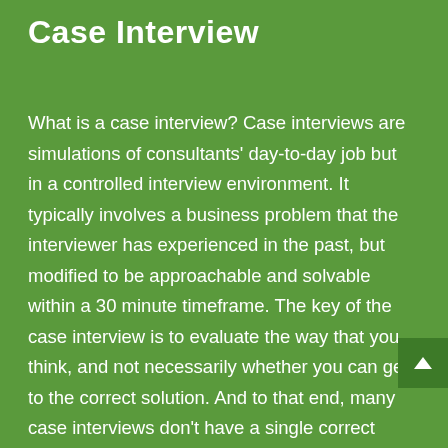Case Interview
What is a case interview? Case interviews are simulations of consultants' day-to-day job but in a controlled interview environment. It typically involves a business problem that the interviewer has experienced in the past, but modified to be approachable and solvable within a 30 minute timeframe. The key of the case interview is to evaluate the way that you think, and not necessarily whether you can get to the correct solution. And to that end, many case interviews don't have a single correct solution.